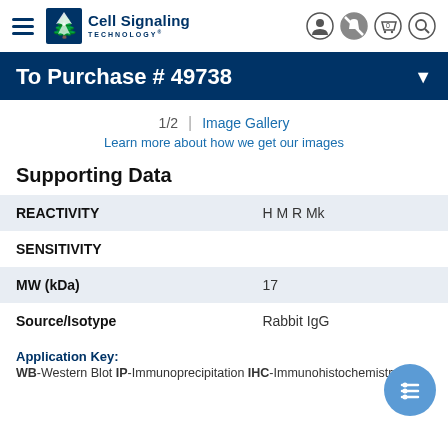[Figure (logo): Cell Signaling Technology logo with tree icon and navigation bar]
To Purchase # 49738
1/2 | Image Gallery
Learn more about how we get our images
Supporting Data
| Field | Value |
| --- | --- |
| REACTIVITY | H M R Mk |
| SENSITIVITY |  |
| MW (kDa) | 17 |
| Source/Isotype | Rabbit IgG |
Application Key: WB-Western Blot IP-Immunoprecipitation IHC-Immunohistochemistry